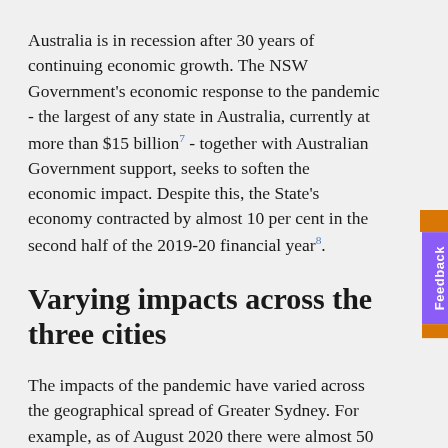Australia is in recession after 30 years of continuing economic growth. The NSW Government's economic response to the pandemic - the largest of any state in Australia, currently at more than $15 billion7 - together with Australian Government support, seeks to soften the economic impact. Despite this, the State's economy contracted by almost 10 per cent in the second half of the 2019-20 financial year8.
Varying impacts across the three cities
The impacts of the pandemic have varied across the geographical spread of Greater Sydney. For example, as of August 2020 there were almost 50 per cent fewer people working in the Sydney CBD than in January 20209. Meanwhile, local centres such as Villawood, Auburn, Homebush and Padstow experienced a 40 to 50 per cent